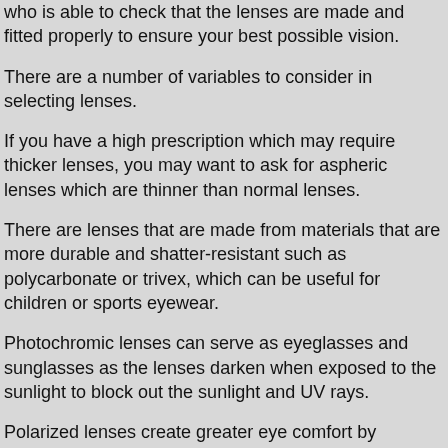who is able to check that the lenses are made and fitted properly to ensure your best possible vision.
There are a number of variables to consider in selecting lenses.
If you have a high prescription which may require thicker lenses, you may want to ask for aspheric lenses which are thinner than normal lenses.
There are lenses that are made from materials that are more durable and shatter-resistant such as polycarbonate or trivex, which can be useful for children or sports eyewear.
Photochromic lenses can serve as eyeglasses and sunglasses as the lenses darken when exposed to the sunlight to block out the sunlight and UV rays.
Polarized lenses create greater eye comfort by reducing glare specifically from the water or snow and are great for sunglasses for those that spend time outdoors.